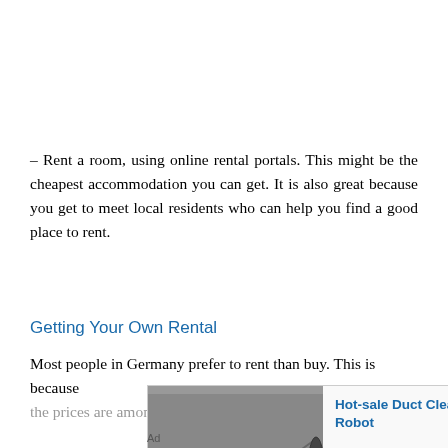– Rent a room, using online rental portals. This might be the cheapest accommodation you can get. It is also great because you get to meet local residents who can help you find a good place to rent.
Getting Your Own Rental
Most people in Germany prefer to rent than buy. This is because the prices are among some of highest quality rental options...
[Figure (photo): Advertisement showing a duct cleaning robot machine with brushes, with text 'Hot-sale Duct Cleaning Robot']